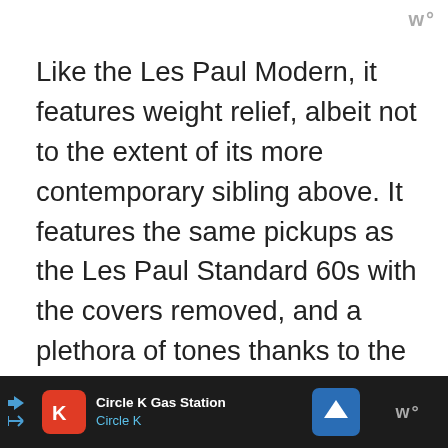w°
Like the Les Paul Modern, it features weight relief, albeit not to the extent of its more contemporary sibling above. It features the same pickups as the Les Paul Standard 60s with the covers removed, and a plethora of tones thanks to the many switching options provided by the push/pull pots.
Body : Mahogany w/ Maple Top
Circle K Gas Station Circle K [advertisement banner]